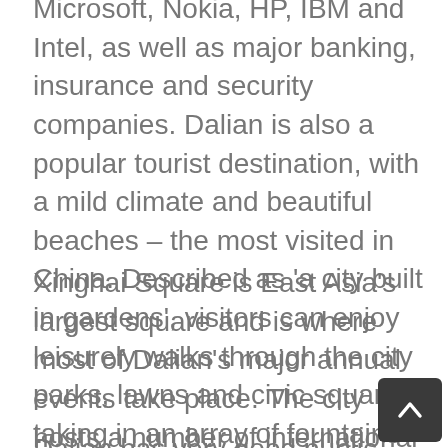Microsoft, Nokia, HP, IBM and Intel, as well as major banking, insurance and security companies. Dalian is also a popular tourist destination, with a mild climate and beautiful beaches – the most visited in China. Described as 'a city built in gardens', visitors can enjoy leisurely walks through the city parks, lawns and civic squares, taking in an array of fountains and gardens. Dalian is also home to three zoological parks, including Shengya Ocean World.
Xinghai Square is East Asia's largest square and is where most of Dalian's major annual events take place. The city hosts a number of international festivals, including the annual International Fashion Festival and China International Beer Festival.
Dalian has very good public transport - the city's distinctive silver buses cover the entire area and are